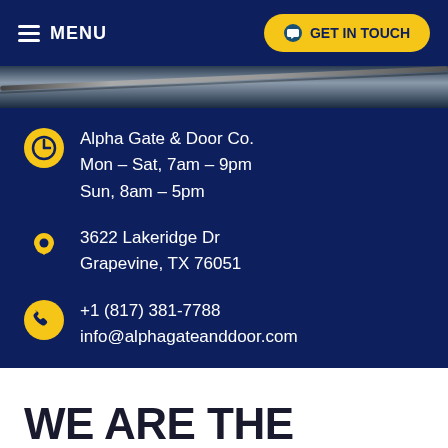MENU | GET IN TOUCH
[Figure (photo): Diagonal metallic gate or fence structure against dark background]
Alpha Gate & Door Co.
Mon – Sat, 7am – 9pm
Sun, 8am – 5pm
3622 Lakeridge Dr
Grapevine, TX 76051
+1 (817) 381-7788
info@alphagateanddoor.com
WE ARE THE LEADING SLIDING FENCE GATE